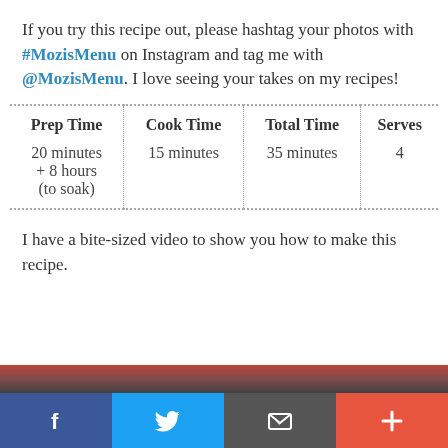If you try this recipe out, please hashtag your photos with #MozisMenu on Instagram and tag me with @MozisMenu. I love seeing your takes on my recipes!
| Prep Time | Cook Time | Total Time | Serves |
| --- | --- | --- | --- |
| 20 minutes
+ 8 hours
(to soak) | 15 minutes | 35 minutes | 4 |
I have a bite-sized video to show you how to make this recipe.
[Figure (screenshot): Bottom social sharing bar with Facebook, Twitter, email, and plus buttons]
[Figure (photo): Partial image strip visible at bottom of page above social bar]